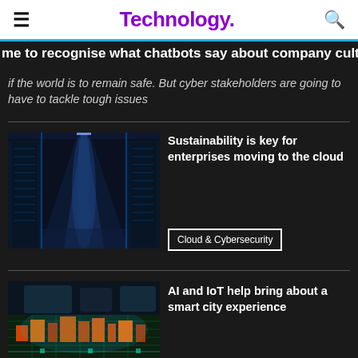Technology.
me to recognise what chatbots say about company culture
if the world is to remain safe. But cyber stakeholders are going to have to tackle tough issues
Sustainability is key for enterprises moving to the cloud
Cloud & Cybersecurity
AI and IoT help bring about a smart city experience